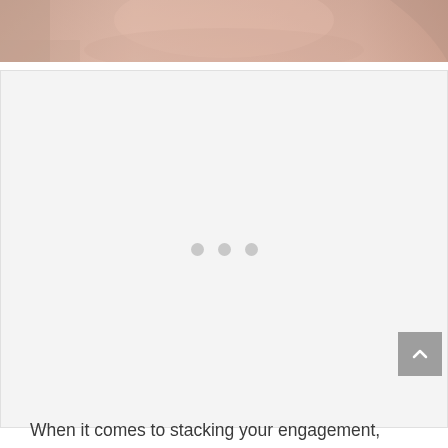[Figure (photo): Close-up photo of skin, likely a neck or shoulder area with some texture visible at the edge, cropped at the top of the page.]
[Figure (other): Loading placeholder box with three gray dots indicating a loading state for an image.]
When it comes to stacking your engagement,